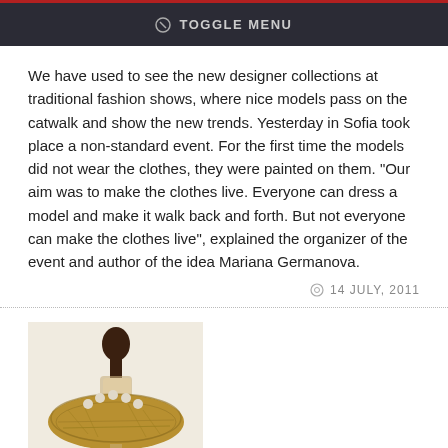TOGGLE MENU
We have used to see the new designer collections at traditional fashion shows, where nice models pass on the catwalk and show the new trends. Yesterday in Sofia took place a non-standard event. For the first time the models did not wear the clothes, they were painted on them. "Our aim was to make the clothes live. Everyone can dress a model and make it walk back and forth. But not everyone can make the clothes live", explained the organizer of the event and author of the idea Mariana Germanova.
14 JULY, 2011
[Figure (photo): A fashion model wearing a large golden nest-like costume piece around the torso, with small decorative elements. White background.]